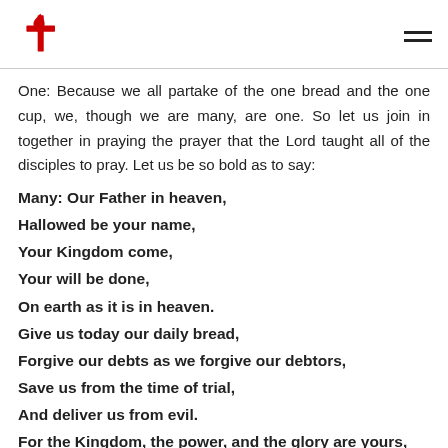United Methodist Church logo and hamburger menu
One: Because we all partake of the one bread and the one cup, we, though we are many, are one. So let us join in together in praying the prayer that the Lord taught all of the disciples to pray. Let us be so bold as to say:
Many: Our Father in heaven,
Hallowed be your name,
Your Kingdom come,
Your will be done,
On earth as it is in heaven.
Give us today our daily bread,
Forgive our debts as we forgive our debtors,
Save us from the time of trial,
And deliver us from evil.
For the Kingdom, the power, and the glory are yours,